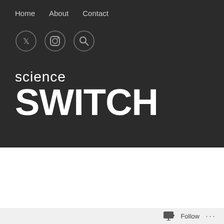Home   About   Contact
[Figure (logo): Science Switch logo with social media icons (Twitter, Instagram, Search) and navigation links (Home, About, Contact) on dark background]
HEALTH AND MEDICINE
Curiosity Changes The Brain To Enhance Learning
Date: October 4, 2014   30